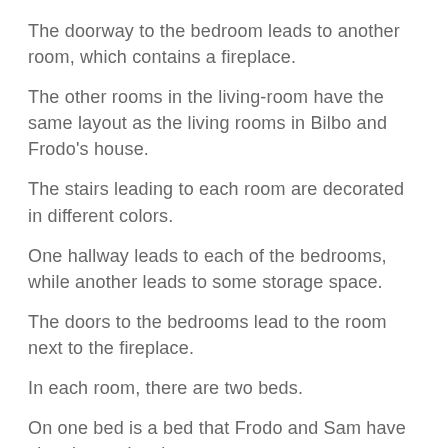The doorway to the bedroom leads to another room, which contains a fireplace.
The other rooms in the living-room have the same layout as the living rooms in Bilbo and Frodo's house.
The stairs leading to each room are decorated in different colors.
One hallway leads to each of the bedrooms, while another leads to some storage space.
The doors to the bedrooms lead to the room next to the fireplace.
In each room, there are two beds.
On one bed is a bed that Frodo and Sam have slept in previously.
The next bed is an old bed that Sam has slept in and Frodan slept in.